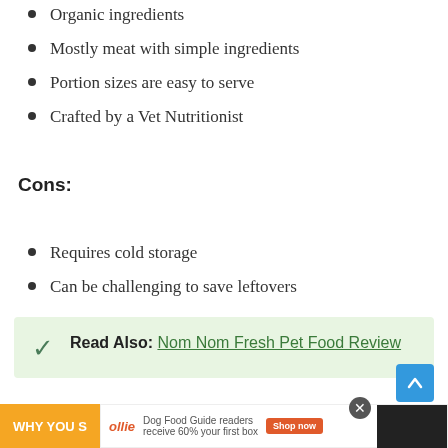Organic ingredients
Mostly meat with simple ingredients
Portion sizes are easy to serve
Crafted by a Vet Nutritionist
Cons:
Requires cold storage
Can be challenging to save leftovers
Read Also: Nom Nom Fresh Pet Food Review
2. Taste Of The Wild Pacific Stream Formula